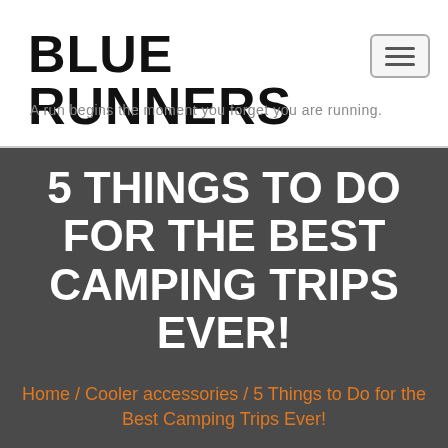BLUE RUNNERS
A run begins the moment you forget you are running.
5 THINGS TO DO FOR THE BEST CAMPING TRIPS EVER!
Home / Cooler accessories / 5 Things to Do for the Best Camping Trips Ever!